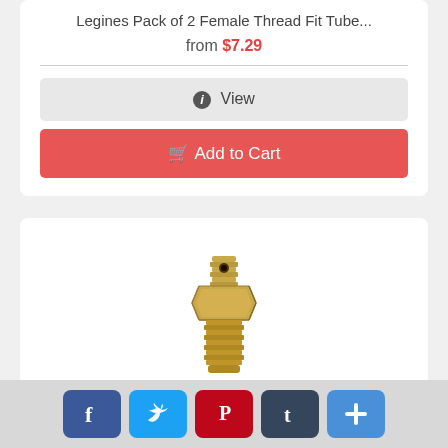Legines Pack of 2 Female Thread Fit Tube...
from $7.29
View
Add to Cart
[Figure (photo): Brass tube fitting, SAE 45 degree, gold colored metal connector with threaded ends]
Legines Brass Tube Fitting, SAE 45 Degre...
from $6.99
[Figure (infographic): Social media sharing bar with Facebook, Twitter, Pinterest, Tumblr, and plus/share buttons]